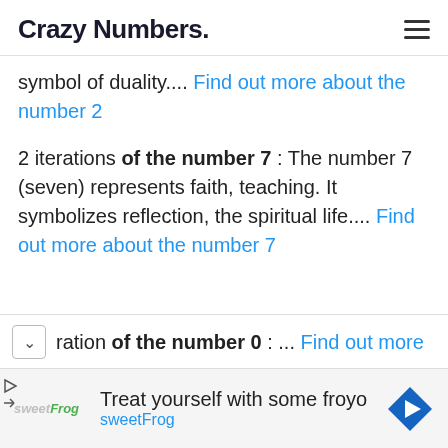Crazy Numbers.
symbol of duality.... Find out more about the number 2
2 iterations of the number 7 : The number 7 (seven) represents faith, teaching. It symbolizes reflection, the spiritual life.... Find out more about the number 7
ration of the number 0 : ... Find out more
Treat yourself with some froyo sweetFrog